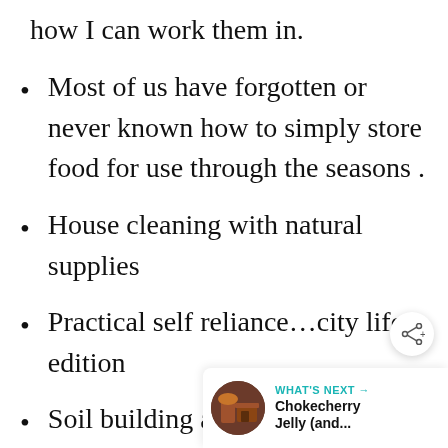how I can work them in.
Most of us have forgotten or never known how to simply store food for use through the seasons .
House cleaning with natural supplies
Practical self reliance…city life edition
Soil building and How to Im[prove] Your Soil
[Figure (other): Share button icon (circle with share symbol)]
[Figure (other): What's Next promo widget with thumbnail image and text: WHAT'S NEXT → Chokecherry Jelly (and...]